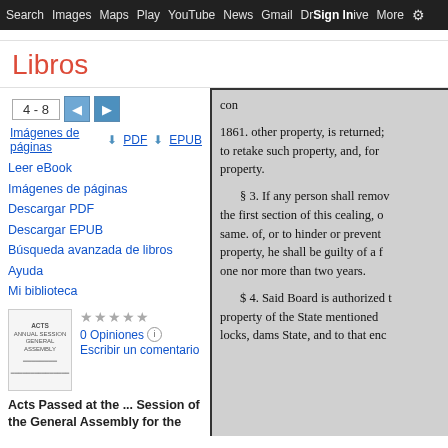Search  Images  Maps  Play  YouTube  News  Gmail  Drive  More  Sign In  ⚙
Libros
4 - 8
Imágenes de páginas   ⬇ PDF   ⬇ EPUB
Leer eBook
Imágenes de páginas
Descargar PDF
Descargar EPUB
Búsqueda avanzada de libros
Ayuda
Mi biblioteca
0 Opiniones  ℹ
Escribir un comentario
Acts Passed at the ... Session of the General Assembly for the
con

1861. other property, is returned;
to retake such property, and, for
property.

§ 3. If any person shall remov
the first section of this cealing, o
same. of, or to hinder or prevent 
property, he shall be guilty of a f
one nor more than two years.

$ 4. Said Board is authorized t
property of the State mentioned 
locks, dams State, and to that enc